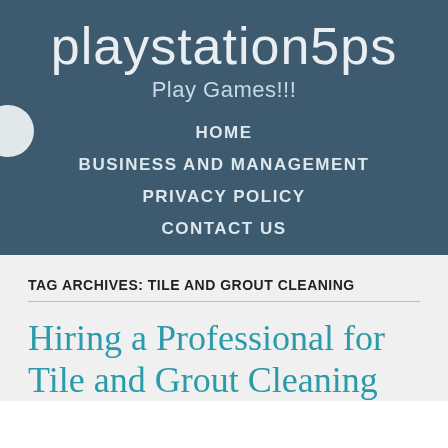playstation5ps
Play Games!!!
HOME
BUSINESS AND MANAGEMENT
PRIVACY POLICY
CONTACT US
TAG ARCHIVES: TILE AND GROUT CLEANING
Hiring a Professional for Tile and Grout Cleaning